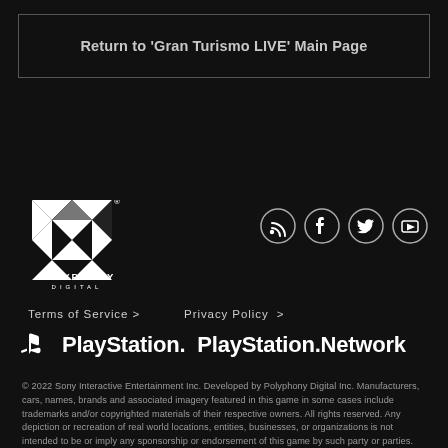Return to 'Gran Turismo LIVE' Main Page
[Figure (logo): Polyphony Digital logo - geometric X pattern in white with POLYPHONY DIGITAL text below]
[Figure (infographic): Four social media icons in circular outlines: RSS feed, Facebook, Twitter, YouTube]
Terms of Service >   Privacy Policy >
[Figure (logo): PlayStation logo icon and PlayStation wordmark, followed by PlayStation.Network wordmark]
© 2022 Sony Interactive Entertainment Inc. Developed by Polyphony Digital Inc. Manufacturers, cars, names, brands and associated imagery featured in this game in some cases include trademarks and/or copyrighted materials of their respective owners. All rights reserved. Any depiction or recreation of real world locations, entities, businesses, or organizations is not intended to be or imply any sponsorship or endorsement of this game by such party or parties. "Gran Turismo" logos are registered trademarks or trademarks of Sony Interactive Entertainment Inc.